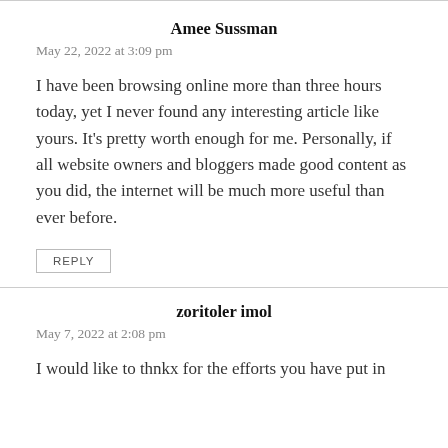Amee Sussman
May 22, 2022 at 3:09 pm
I have been browsing online more than three hours today, yet I never found any interesting article like yours. It’s pretty worth enough for me. Personally, if all website owners and bloggers made good content as you did, the internet will be much more useful than ever before.
REPLY
zoritoler imol
May 7, 2022 at 2:08 pm
I would like to thnkx for the efforts you have put in